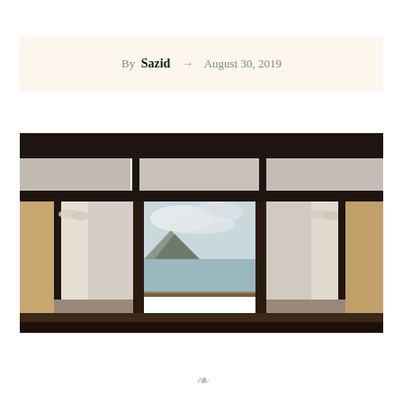By Sazid → August 30, 2019
[Figure (photo): Interior view through large wooden-framed glass sliding doors and windows with white sheer curtains, looking out onto a balcony with a railing, mountains, water/sea, and overcast sky in the background.]
❧